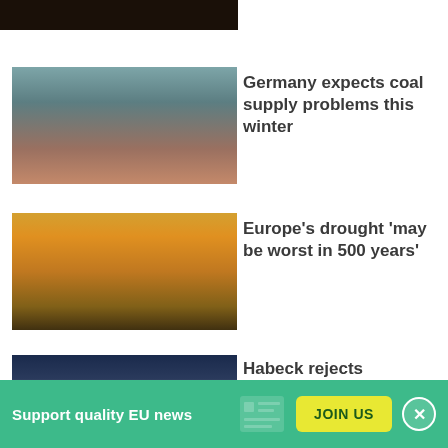[Figure (photo): Dark nighttime scene, partial view at top of page]
[Figure (photo): Aerial view of river with barges and rooftops with satellite dishes]
Germany expects coal supply problems this winter
[Figure (photo): Road scene with orange smoky sky from wildfire]
Europe's drought 'may be worst in 500 years'
[Figure (photo): Partial view of a person against dark blue background]
Habeck rejects extending
Support quality EU news
JOIN US